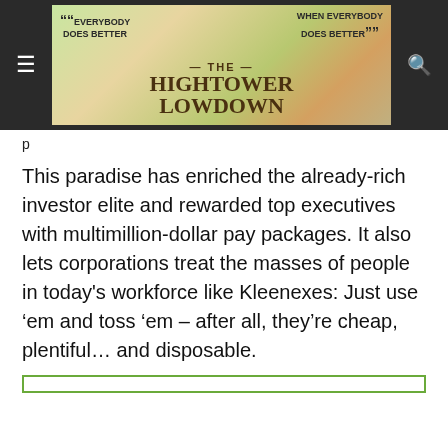The Hightower Lowdown — Everybody Does Better When Everybody Does Better
p
This paradise has enriched the already-rich investor elite and rewarded top executives with multimillion-dollar pay packages. It also lets corporations treat the masses of people in today's workforce like Kleenexes: Just use 'em and toss 'em – after all, they're cheap, plentiful... and disposable.
[Figure (other): Partial green-bordered box at bottom of page]